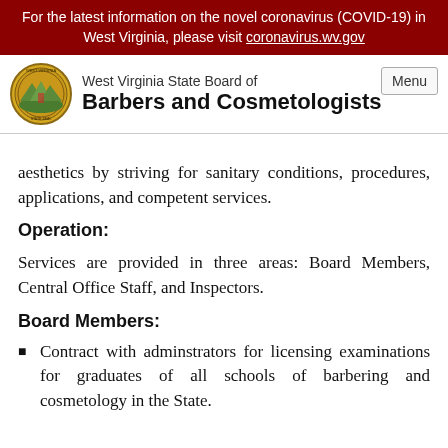For the latest information on the novel coronavirus (COVID-19) in West Virginia, please visit coronavirus.wv.gov
[Figure (logo): West Virginia State Board seal/logo]
West Virginia State Board of Barbers and Cosmetologists
aesthetics by striving for sanitary conditions, procedures, applications, and competent services.
Operation:
Services are provided in three areas: Board Members, Central Office Staff, and Inspectors.
Board Members:
Contract with adminstrators for licensing examinations for graduates of all schools of barbering and cosmetology in the State.